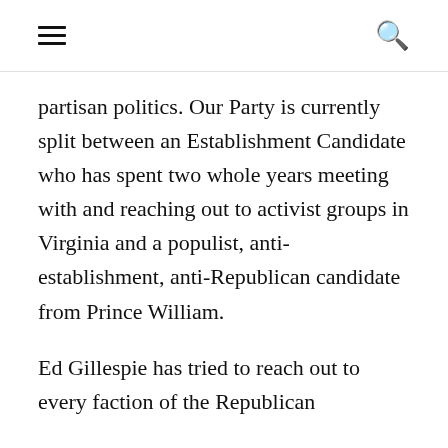≡  🔍
partisan politics. Our Party is currently split between an Establishment Candidate who has spent two whole years meeting with and reaching out to activist groups in Virginia and a populist, anti-establishment, anti-Republican candidate from Prince William.
Ed Gillespie has tried to reach out to every faction of the Republican